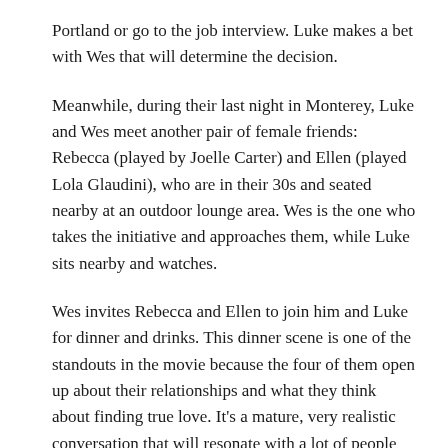Portland or go to the job interview. Luke makes a bet with Wes that will determine the decision.
Meanwhile, during their last night in Monterey, Luke and Wes meet another pair of female friends: Rebecca (played by Joelle Carter) and Ellen (played Lola Glaudini), who are in their 30s and seated nearby at an outdoor lounge area. Wes is the one who takes the initiative and approaches them, while Luke sits nearby and watches.
Wes invites Rebecca and Ellen to join him and Luke for dinner and drinks. This dinner scene is one of the standouts in the movie because the four of them open up about their relationships and what they think about finding true love. It's a mature, very realistic conversation that will resonate with a lot of people who watch this movie.